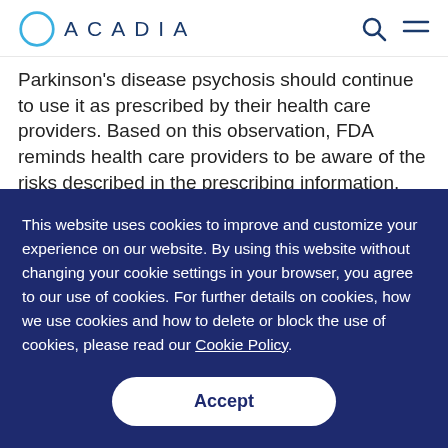ACADIA
Parkinson's disease psychosis should continue to use it as prescribed by their health care providers. Based on this observation, FDA reminds health care providers to be aware of the risks described in the prescribing information. FDA also reminds health
This website uses cookies to improve and customize your experience on our website. By using this website without changing your cookie settings in your browser, you agree to our use of cookies. For further details on cookies, how we use cookies and how to delete or block the use of cookies, please read our Cookie Policy.
Accept